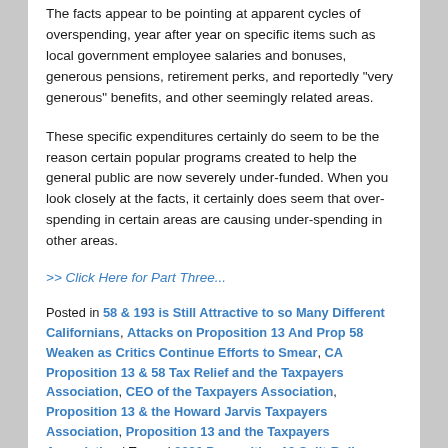The facts appear to be pointing at apparent cycles of overspending, year after year on specific items such as local government employee salaries and bonuses, generous pensions, retirement perks, and reportedly "very generous" benefits, and other seemingly related areas.
These specific expenditures certainly do seem to be the reason certain popular programs created to help the general public are now severely under-funded. When you look closely at the facts, it certainly does seem that over-spending in certain areas are causing under-spending in other areas.
>> Click Here for Part Three...
Posted in 58 & 193 is Still Attractive to so Many Different Californians, Attacks on Proposition 13 And Prop 58 Weaken as Critics Continue Efforts to Smear, CA Proposition 13 & 58 Tax Relief and the Taxpayers Association, CEO of the Taxpayers Association, Proposition 13 & the Howard Jarvis Taxpayers Association, Proposition 13 and the Taxpayers Association | Tagged 2020 Proposition 13 Split-Roll Property